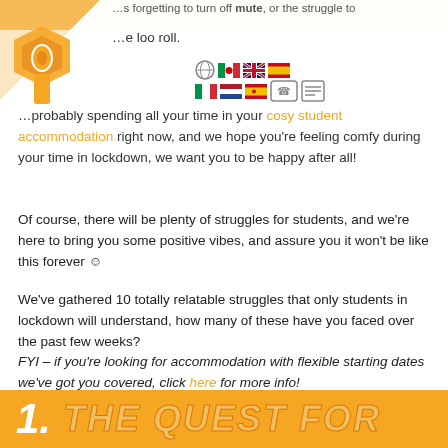…s forgetting to turn off mute, or the struggle to …e loo roll.
…probably spending all your time in your cosy student accommodation right now, and we hope you're feeling comfy during your time in lockdown, we want you to be happy after all!
Of course, there will be plenty of struggles for students, and we're here to bring you some positive vibes, and assure you it won't be like this forever ☺
We've gathered 10 totally relatable struggles that only students in lockdown will understand, how many of these have you faced over the past few weeks?
FYI – if you're looking for accommodation with flexible starting dates we've got you covered, click here for more info!
1. THE QUEST FOR